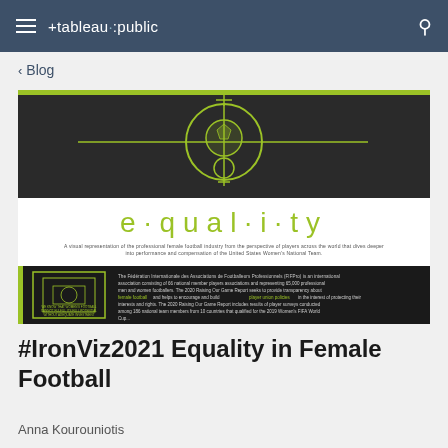tableau public
Blog
[Figure (screenshot): Screenshot of an equality in female football data visualization poster. The poster shows 'e·qual·i·ty' in green letters on a white background, with a soccer ball on a dark pitch background at the top, and a dark section below with green text and descriptions about female football and compensation data.]
#IronViz2021 Equality in Female Football
Anna Kourouniotis